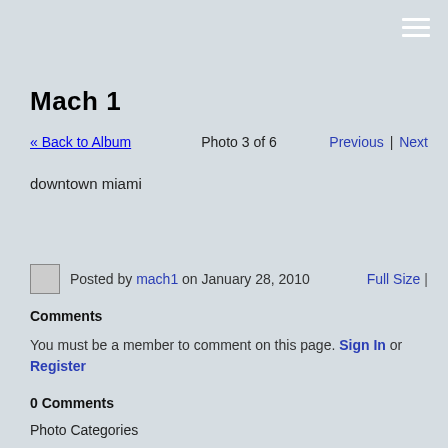[Figure (other): Hamburger menu icon (three horizontal white lines) in top-right corner]
Mach 1
« Back to Album   Photo 3 of 6   Previous | Next
downtown miami
Posted by mach1 on January 28, 2010   Full Size |
Comments
You must be a member to comment on this page. Sign In or Register
0 Comments
Photo Categories